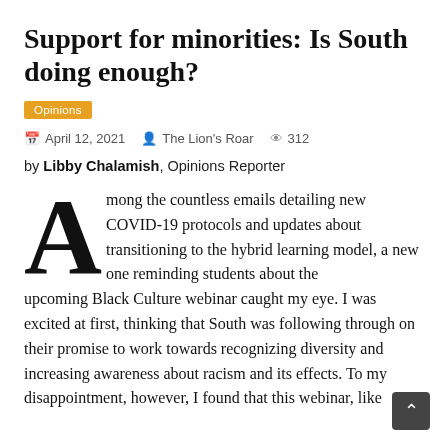Support for minorities: Is South doing enough?
Opinions
April 12, 2021  The Lion's Roar  312
by Libby Chalamish, Opinions Reporter
Among the countless emails detailing new COVID-19 protocols and updates about transitioning to the hybrid learning model, a new one reminding students about the upcoming Black Culture webinar caught my eye. I was excited at first, thinking that South was following through on their promise to work towards recognizing diversity and increasing awareness about racism and its effects. To my disappointment, however, I found that this webinar, like